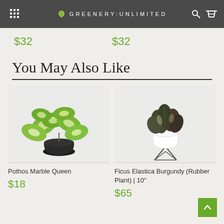GREENERY:UNLIMITED
$32
$32
You May Also Like
[Figure (photo): Photo of Pothos Marble Queen plant in black pot on light background]
Pothos Marble Queen
$18
[Figure (photo): Photo of Ficus Elastica Burgundy (Rubber Plant) in white geometric pot with wire stand]
Ficus Elastica Burgundy (Rubber Plant) | 10"
$65